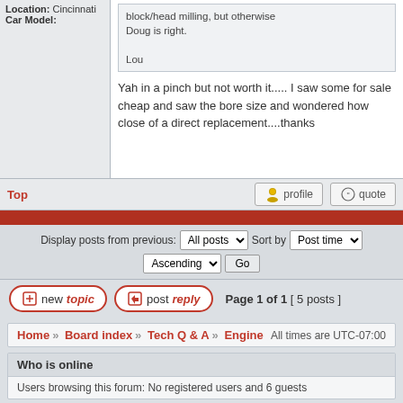Location: Cincinnati
Car Model:
block/head milling, but otherwise Doug is right.

Lou
Yah in a pinch but not worth it..... I saw some for sale cheap and saw the bore size and wondered how close of a direct replacement....thanks
Top
profile
quote
Display posts from previous:  All posts  Sort by  Post time
Ascending  Go
newtopic
postreply
Page 1 of 1  [ 5 posts ]
Home » Board index » Tech Q & A » Engine   All times are UTC-07:00
Who is online
Users browsing this forum: No registered users and 6 guests
You cannot post new topics in this forum